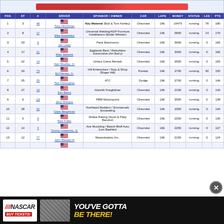[Figure (screenshot): Top banner area with a red button/advertisement element]
| POS | ST | # | DRIVER | SPONSOR / OWNER | CAR | LAPS | MONEY | STATUS | LED | PTS |
| --- | --- | --- | --- | --- | --- | --- | --- | --- | --- | --- |
| 1 | 3 | 48 | Tony Hinchman | Key Material (Bob & Tom Kehley) | Chevrolet | 196 | 10475 | running | 78 | 180 |
| 2 | 8 | 17 | Mike Ewanitsko | Universal Welding/ADP Furniture Installations (Eddie Whelan) | Chevrolet | 196 | 5800 | running | 14 | 170 |
| 3 | 23 | 6 | Jan Leaty | Pace Electronics | Chevrolet | 196 | 3900 | running | 0 | 165 |
| 4 | 17 | 21 | Mike Stefanik | Egglands Best / Rebuilders Automotive (Art Barry) | Chevrolet | 196 | 3300 | running | 0 | 160 |
| 5 | 22 | 14 | Ken Woolley, Jr. | United Crane Rentals | Chevrolet | 196 | 2500 | running | 0 | 155 |
| 6 | 20 | 79 | Ed Flemke, Jr. | Hill Enterprises / Stop & Shop (Roger Hill) | Pontiac | 196 | 2700 | running | 30 | 150 |
| 7 | 25 | 25 | Ted Christopher | ATC | Dodge | 196 | 2700 | running | 0 | 146 |
| 8 | 27 | 19 | Eric Beers | Harwith Freightliner | Chevrolet | 196 | 2100 | running | 0 | 142 |
| 9 | 6 | Q6 | Jerry Marquis | PBM Motorsports | Chevrolet | 196 | 3500 | running | 0 | 138 |
| 10 | 28 | 32 | Dave Berghman | Northeast Builders / Emmanuels Excavating | Chevrolet | 196 | 2350 | running | 0 | 134 |
| 11 | 5 | 8 | Rick Fuller | Sheba Racing (Scott & Patty Bandrul) | Chevrolet | 196 | 2250 | running | 0 | 130 |
| 12 | 14 | 3 | Tommy Cravenho, Jr. | Ace Moulding / Beech Bluff Auto (Len Baehler) | Chevrolet | 196 | 2250 | running | 0 | 127 |
| 13 | 12 | 77 | John Blewett III | Mastrobatisto Inc. | Chevrolet | 196 | 2150 | running | 0 | 124 |
[Figure (screenshot): NASCAR BUY TICKETS advertisement banner at bottom — YOU'VE GOTTA BE THERE!]